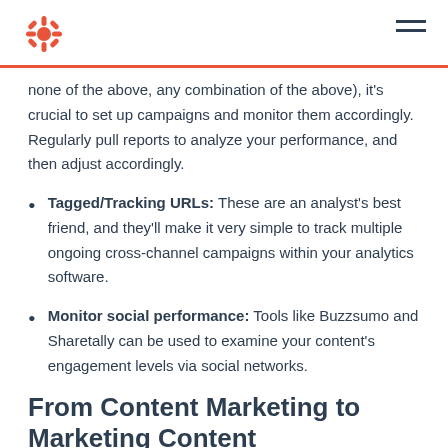HubSpot logo and navigation
none of the above, any combination of the above), it's crucial to set up campaigns and monitor them accordingly. Regularly pull reports to analyze your performance, and then adjust accordingly.
Tagged/Tracking URLs: These are an analyst's best friend, and they'll make it very simple to track multiple ongoing cross-channel campaigns within your analytics software.
Monitor social performance: Tools like Buzzsumo and Sharetally can be used to examine your content's engagement levels via social networks.
From Content Marketing to Marketing Content